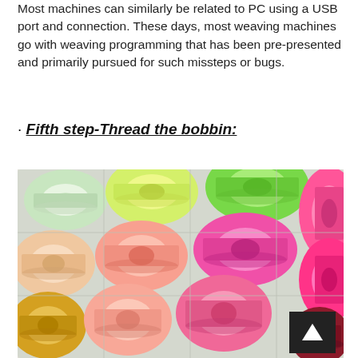Most machines can similarly be related to PC using a USB port and connection. These days, most weaving machines go with weaving programming that has been pre-presented and primarily pursued for such missteps or bugs.
· Fifth step-Thread the bobbin:
[Figure (photo): A photo showing colorful thread bobbins arranged in a plastic organizer tray. The bobbins display various colors including green, yellow, peach, orange, pink, hot pink, and dark red. A black scroll-to-top arrow button is visible in the bottom-right corner of the image.]